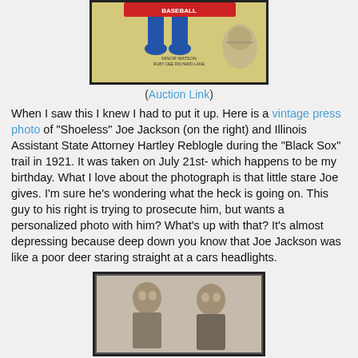[Figure (photo): Top portion of a vintage movie/event poster showing legs in blue shoes and football imagery with text credits including Minor Watson, Ruby Dee, Richard Lane]
(Auction Link)
When I saw this I knew I had to put it up.  Here is a vintage press photo of "Shoeless" Joe Jackson (on the right) and Illinois Assistant State Attorney Hartley Reblogle during the "Black Sox" trail in 1921.  It was taken on July 21st- which happens to be my birthday.  What I love about the photograph is that little stare Joe gives.  I'm sure he's wondering what the heck is going on.  This guy to his right is trying to prosecute him, but wants a personalized photo with him?  What's up with that?  It's almost depressing because deep down you know that Joe Jackson was like a poor deer staring straight at a cars headlights.
[Figure (photo): Black and white vintage press photo showing two men seated, one of whom is "Shoeless" Joe Jackson]